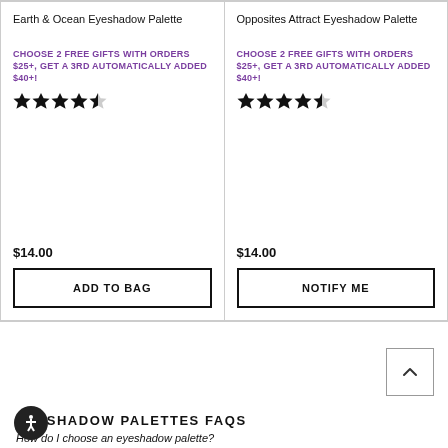Earth & Ocean Eyeshadow Palette
CHOOSE 2 FREE GIFTS WITH ORDERS $25+, GET A 3RD AUTOMATICALLY ADDED $40+!
★★★★½ rating
$14.00
ADD TO BAG
Opposites Attract Eyeshadow Palette
CHOOSE 2 FREE GIFTS WITH ORDERS $25+, GET A 3RD AUTOMATICALLY ADDED $40+!
★★★★½ rating
$14.00
NOTIFY ME
EYESHADOW PALETTES FAQS
How do I choose an eyeshadow palette?